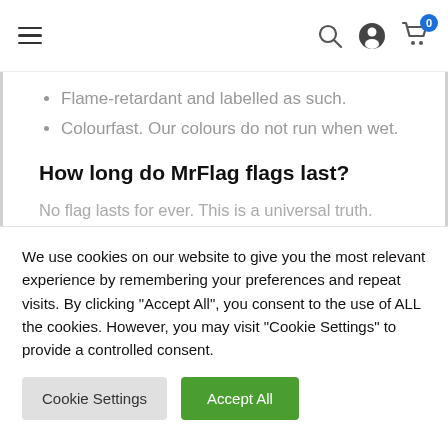Navigation bar with hamburger menu, search icon, user icon, and cart icon with badge 0
Flame-retardant and labelled as such.
Colourfast. Our colours do not run when wet.
How long do MrFlag flags last?
No flag lasts for ever. This is a universal truth.
We use cookies on our website to give you the most relevant experience by remembering your preferences and repeat visits. By clicking "Accept All", you consent to the use of ALL the cookies. However, you may visit "Cookie Settings" to provide a controlled consent.